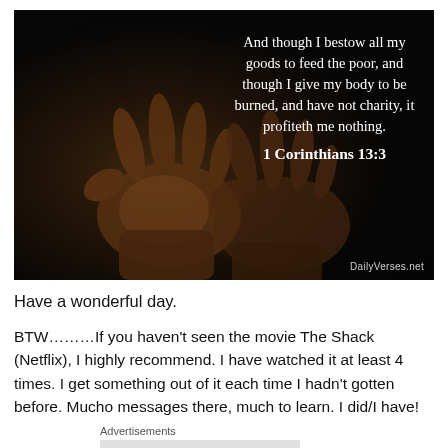[Figure (photo): Photograph of two open hands held out, palms up, against a dark black background, with a Bible verse overlay on the right side reading: 'And though I bestow all my goods to feed the poor, and though I give my body to be burned, and have not charity, it profiteth me nothing. 1 Corinthians 13:3'. Watermark: DailyVerses.net]
Have a wonderful day.
BTW………If you haven't seen the movie The Shack (Netflix), I highly recommend. I have watched it at least 4 times. I get something out of it each time I hadn't gotten before. Mucho messages there, much to learn. I did/I have!
Advertisements